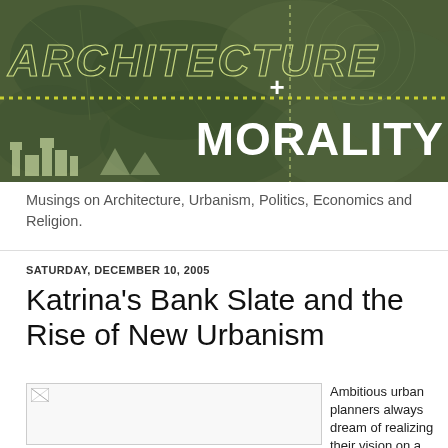[Figure (illustration): Blog header banner with dark green leaf/foliage background. Large italic outlined text 'ARCHITECTURE' on upper left, a dotted horizontal yellow-green line across the middle, a white plus sign, and bold white 'MORALITY' text on lower right. Small architectural building silhouettes visible at the bottom left.]
Musings on Architecture, Urbanism, Politics, Economics and Religion.
SATURDAY, DECEMBER 10, 2005
Katrina's Bank Slate and the Rise of New Urbanism
[Figure (photo): Broken/missing image placeholder with small broken image icon in top-left corner]
Ambitious urban planners always dream of realizing their vision on a tabula rasa (blank slate). The notion that an ideal town